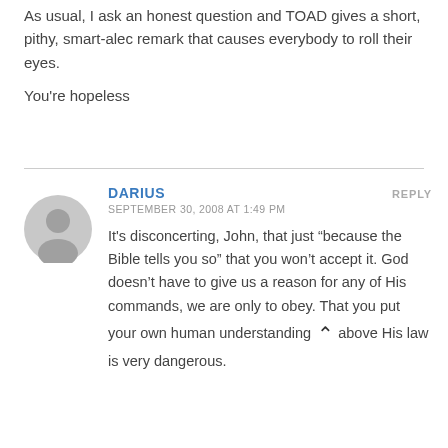As usual, I ask an honest question and TOAD gives a short, pithy, smart-alec remark that causes everybody to roll their eyes.

You're hopeless
DARIUS
SEPTEMBER 30, 2008 AT 1:49 PM
It's disconcerting, John, that just “because the Bible tells you so” that you won’t accept it. God doesn’t have to give us a reason for any of His commands, we are only to obey. That you put your own human understanding above His law is very dangerous.